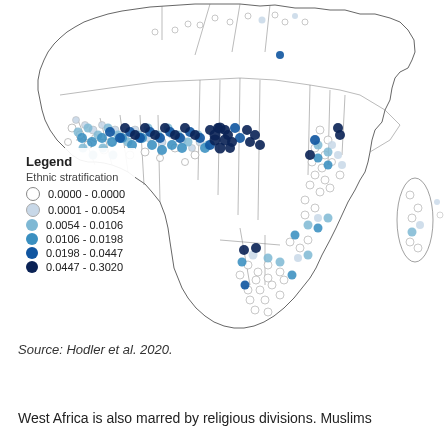[Figure (map): Map of Africa showing ethnic stratification values at data point locations. Points are colored from white/light grey to dark navy blue in six graduated classes representing ethnic stratification ranges: 0.0000-0.0000, 0.0001-0.0054, 0.0054-0.0106, 0.0106-0.0198, 0.0198-0.0447, 0.0447-0.3020. Dense clusters of points appear in West Africa and East Africa. A legend is overlaid in the lower-left area of the map.]
Source: Hodler et al. 2020.
West Africa is also marred by religious divisions. Muslims